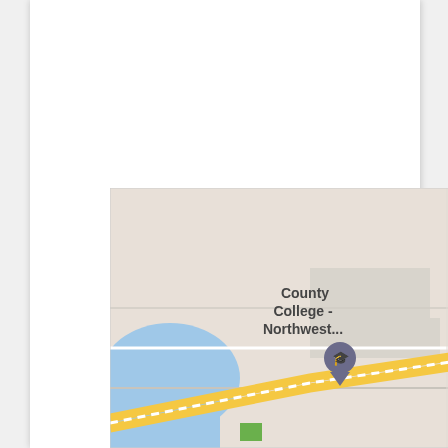[Figure (map): Google Maps screenshot showing Fort Worth Meacham Int'l Airport area, with County College Northwest visible on the left, Old Decatur Rd running vertically, Highway 820 interchange, and Blue Mound text on the right side. Blue water/lake area visible on lower left.]